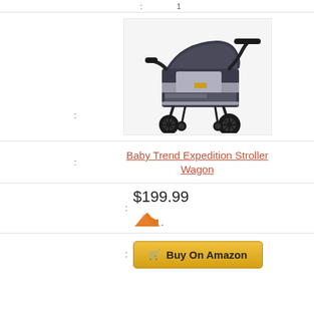[Figure (photo): Baby Trend Expedition Stroller Wagon product photo - a dark gray/black stroller wagon with canopy, push handle, storage basket, and large rubber wheels]
Baby Trend Expedition Stroller Wagon
$199.99
Buy On Amazon